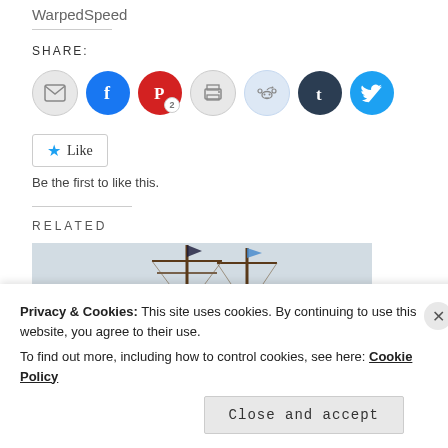WarpedSpeed
SHARE:
[Figure (infographic): Social share buttons: email, Facebook, Pinterest (2), print, Reddit, Tumblr, Twitter]
Like  Be the first to like this.
RELATED
[Figure (photo): Partial photo of a tall ship mast with flags against a grey sky]
Privacy & Cookies: This site uses cookies. By continuing to use this website, you agree to their use.
To find out more, including how to control cookies, see here: Cookie Policy
Close and accept